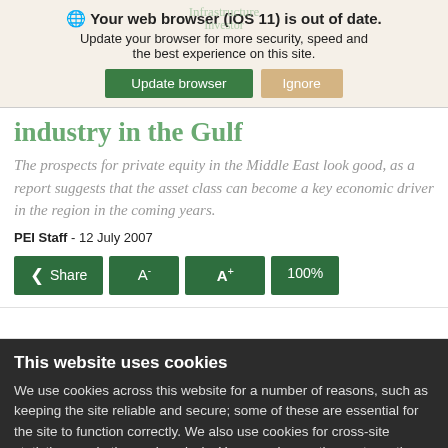Your web browser (iOS 11) is out of date. Update your browser for more security, speed and the best experience on this site.
Update browser | Ignore
industry in the Gulf
The prospects for private equity in the Middle East look good, as a report suggests that the asset class can become a key economic driver in the region in the coming years.
PEI Staff -  12 July 2007
Share  A-  A+  100%
This website uses cookies
We use cookies across this website for a number of reasons, such as keeping the site reliable and secure; some of these are essential for the site to function correctly. We also use cookies for cross-site statistics, marketing and analysis. You can change these at any time by clicking the settings below.